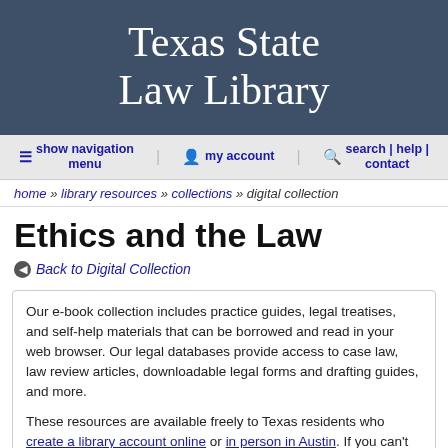Texas State Law Library
show navigation menu   my account   search | help | contact
home » library resources » collections » digital collection
Ethics and the Law
Back to Digital Collection
Our e-book collection includes practice guides, legal treatises, and self-help materials that can be borrowed and read in your web browser. Our legal databases provide access to case law, law review articles, downloadable legal forms and drafting guides, and more.

These resources are available freely to Texas residents who create a library account online or in person in Austin. If you can't find what you're looking for, Ask a Librarian for help!